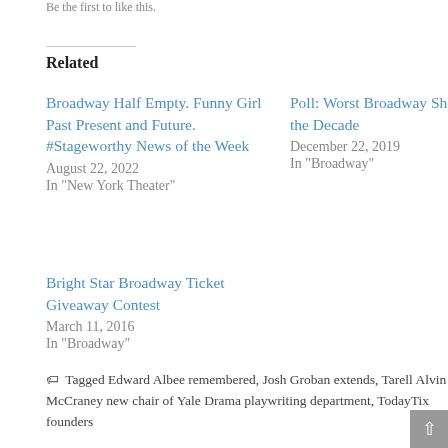Be the first to like this.
Related
Broadway Half Empty. Funny Girl Past Present and Future. #Stageworthy News of the Week
August 22, 2022
In "New York Theater"
Poll: Worst Broadway Show of the Decade
December 22, 2019
In "Broadway"
Bright Star Broadway Ticket Giveaway Contest
March 11, 2016
In "Broadway"
Tagged Edward Albee remembered, Josh Groban extends, Tarell Alvin McCraney new chair of Yale Drama playwriting department, TodayTix founders
Author: NewYork Theater